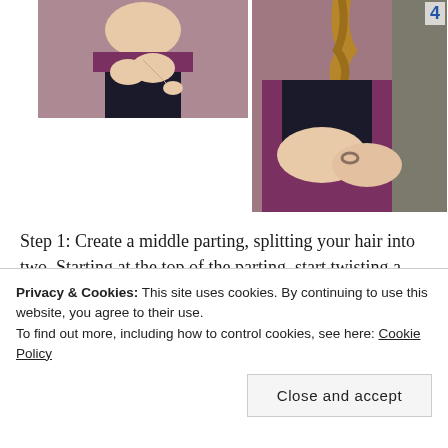[Figure (photo): Photo of a woman in a purple/magenta top demonstrating a hair braiding step, pointing with her finger, cropped upper body, image 3]
[Figure (photo): Photo labeled '4' showing a woman in a purple top holding a long braid of hair, demonstrating a braiding step]
Step 1: Create a middle parting, splitting your hair into two. Starting at the top of the parting, start twisting a small section of your hair. Move along
Privacy & Cookies: This site uses cookies. By continuing to use this website, you agree to their use.
To find out more, including how to control cookies, see here: Cookie Policy
Close and accept